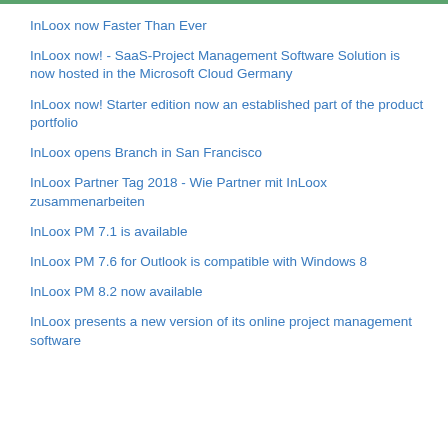InLoox now Faster Than Ever
InLoox now! - SaaS-Project Management Software Solution is now hosted in the Microsoft Cloud Germany
InLoox now! Starter edition now an established part of the product portfolio
InLoox opens Branch in San Francisco
InLoox Partner Tag 2018 - Wie Partner mit InLoox zusammenarbeiten
InLoox PM 7.1 is available
InLoox PM 7.6 for Outlook is compatible with Windows 8
InLoox PM 8.2 now available
InLoox presents a new version of its online project management software